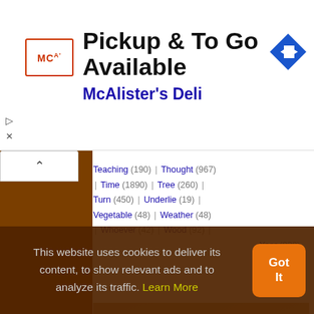[Figure (screenshot): Advertisement banner for McAlister's Deli showing logo, 'Pickup & To Go Available' text, and navigation arrow icon]
Teaching (190) | Thought (967) | Time (1890) | Tree (260) | Turn (450) | Underlie (19) | Vegetable (48) | Weather (48) | Whoever (42) | Wood (92) | Year (939)
[Figure (photo): Photo of Isaac Asimov with overlaid green italic text reading 'Humanity is cutt... apparently oblivi... may not be able...' on a brown/stone background]
This website uses cookies to deliver its content, to show relevant ads and to analyze its traffic. Learn More
Got It